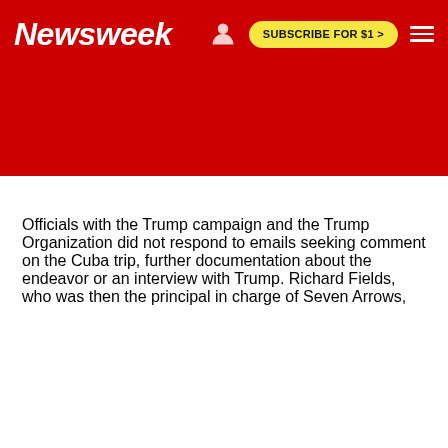Newsweek | SUBSCRIBE FOR $1 >
Officials with the Trump campaign and the Trump Organization did not respond to emails seeking comment on the Cuba trip, further documentation about the endeavor or an interview with Trump. Richard Fields, who was then the principal in charge of Seven Arrows,